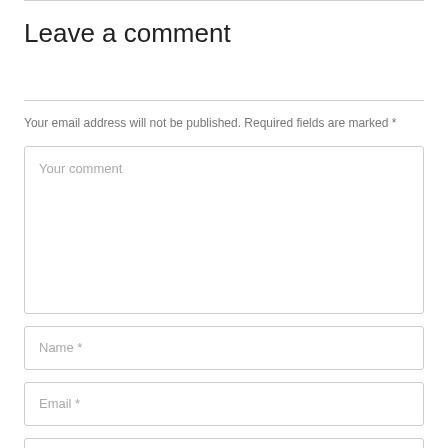Leave a comment
Your email address will not be published. Required fields are marked *
Your comment
Name *
Email *